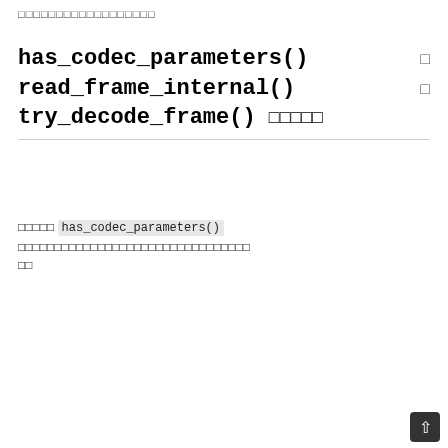□□□□□□□□□□□□□□□□□□
has_codec_parameters()
read_frame_internal()
try_decode_frame() □□□□□
□□□□□ has_codec_parameters() □□□□□□□□□□□□□□□□□□□□□□□□□□□□□□□□
[Figure (screenshot): Code block showing C function has_codec_parameters with line numbers 1-8+. Lines: 1: static int has_codec_parameters(AVStream *s  2: {  3:     AVCodecContext *avctx = st->internal->a  4:     //...  5:     if (    avctx->codec_id == AV_CODEC_ID_N  6:         && avctx->codec_type != AVMEDIA_TYP  7:         FAIL("unknown codec");  8:     switch (avctx->codec_type) {]